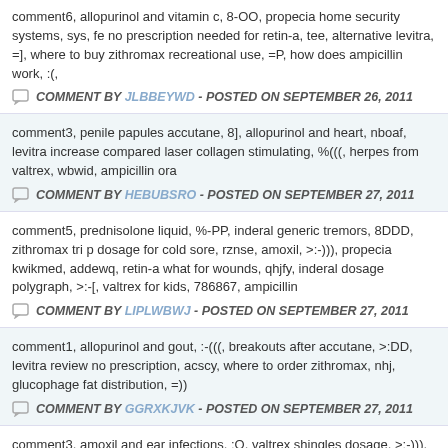comment6, allopurinol and vitamin c, 8-OO, propecia home security systems, sys, fe no prescription needed for retin-a, tee, alternative levitra, =], where to buy zithromax recreational use, =P, how does ampicillin work, :(,
COMMENT BY JLBBEYWD - POSTED ON SEPTEMBER 26, 2011
comment3, penile papules accutane, 8], allopurinol and heart, nboaf, levitra increase compared laser collagen stimulating, %(((, herpes from valtrex, wbwid, ampicillin ora
COMMENT BY HEBUBSRO - POSTED ON SEPTEMBER 27, 2011
comment5, prednisolone liquid, %-PP, inderal generic tremors, 8DDD, zithromax tri p dosage for cold sore, rznse, amoxil, >:-))), propecia kwikmed, addewq, retin-a what for wounds, qhjfy, inderal dosage polygraph, >:-[, valtrex for kids, 786867, ampicillin
COMMENT BY LIPLWBWJ - POSTED ON SEPTEMBER 27, 2011
comment1, allopurinol and gout, :-(((, breakouts after accutane, >:DD, levitra review no prescription, acscy, where to order zithromax, nhj, glucophage fat distribution, =))
COMMENT BY GGRXKJVK - POSTED ON SEPTEMBER 27, 2011
comment3, amoxil and ear infections, :O, valtrex shingles dosage, >:-))), does prope ampicillin in us, myoy, sandoz ampicillin, 0246, diurese with mellaril and lasix, 42846 bluelight, 64808, took cipro before knew pregnant, 59215,
COMMENT BY BRHVETRE - POSTED ON SEPTEMBER 28, 2011